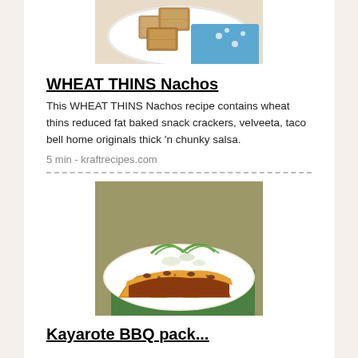[Figure (photo): Photo of wheat thins crackers on a white plate with a blue polka dot napkin]
WHEAT THINS Nachos
This WHEAT THINS Nachos recipe contains wheat thins reduced fat baked snack crackers, velveeta, taco bell home originals thick 'n chunky salsa.
5 min - kraftrecipes.com
[Figure (photo): Photo of nachos topped with chili, cheese, beans, green onions on a white plate with green background]
Kayarote BBQ pack...